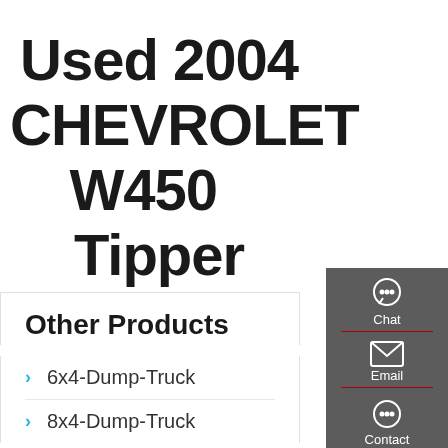Used 2004 CHEVROLET W4500 Tipper Truck
Other Products
6x4-Dump-Truck
8x4-Dump-Truck